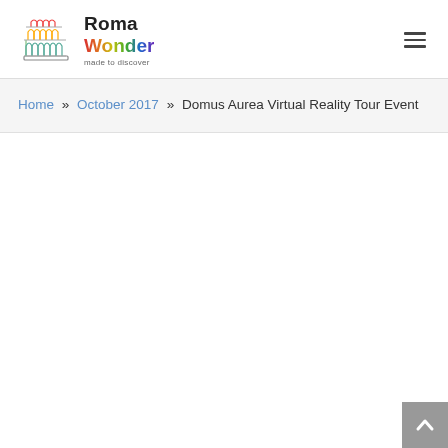[Figure (logo): Roma Wonder logo with Colosseum icon and rainbow-colored Wonder text, tagline: made to discover]
Home » October 2017 » Domus Aurea Virtual Reality Tour Event